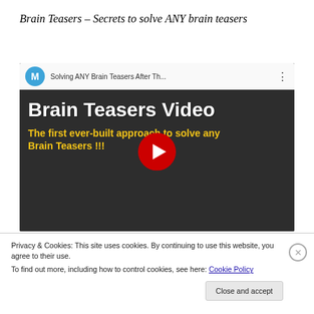Brain Teasers – Secrets to solve ANY brain teasers
[Figure (screenshot): Embedded YouTube video thumbnail showing 'Brain Teasers Video – The first ever-built approach to solve any Brain Teasers!!!' with a red play button in the center. The video bar shows a blue M logo and title 'Solving ANY Brain Teasers After Th...' with a three-dot menu.]
Privacy & Cookies: This site uses cookies. By continuing to use this website, you agree to their use.
To find out more, including how to control cookies, see here: Cookie Policy